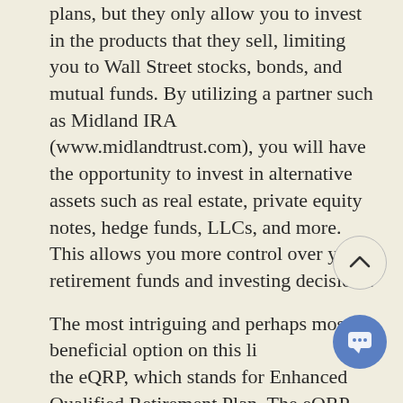plans, but they only allow you to invest in the products that they sell, limiting you to Wall Street stocks, bonds, and mutual funds. By utilizing a partner such as Midland IRA (www.midlandtrust.com), you will have the opportunity to invest in alternative assets such as real estate, private equity notes, hedge funds, LLCs, and more. This allows you more control over your retirement funds and investing decisions.
The most intriguing and perhaps most beneficial option on this li... the eQRP, which stands for Enhanced Qualified Retirement Plan. The eQRP allows you to invest almost identically to a Self-Directed IRA... the like, but has additional benefits